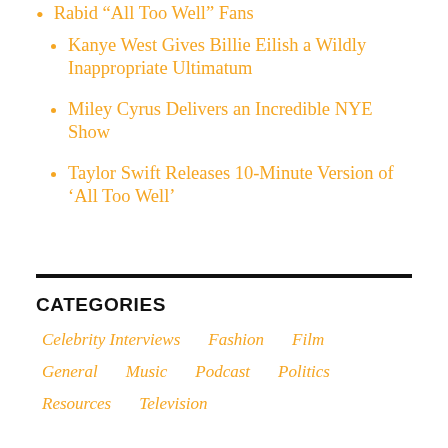Rabid “All Too Well” Fans
Kanye West Gives Billie Eilish a Wildly Inappropriate Ultimatum
Miley Cyrus Delivers an Incredible NYE Show
Taylor Swift Releases 10-Minute Version of ‘All Too Well’
CATEGORIES
Celebrity Interviews   Fashion   Film
General   Music   Podcast   Politics
Resources   Television